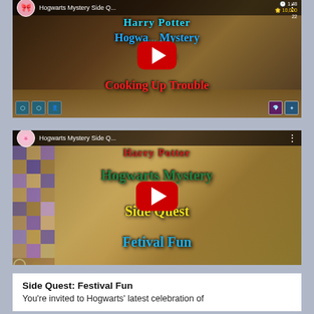[Figure (screenshot): YouTube video thumbnail for Hogwarts Mystery Side Quest: Cooking Up Trouble. Shows game scene with Harry Potter title in cyan, Hogwarts Mystery Side Quest in blue/yellow, Cooking Up Trouble in red. YouTube play button centered.]
[Figure (screenshot): YouTube video thumbnail for Hogwarts Mystery Side Quest: Festival Fun. Shows game scene with character wearing flower crown. Text: Harry Potter in red, Hogwarts Mystery in green, Side Quest in yellow, Fetival Fun in cyan. YouTube play button centered.]
Side Quest: Festival Fun
You're invited to Hogwarts' latest celebration of